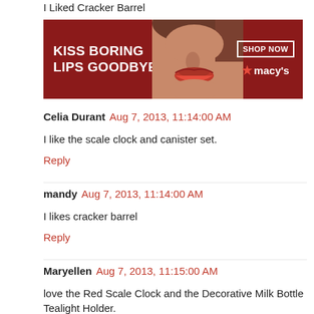[Figure (photo): Macy's advertisement banner: 'KISS BORING LIPS GOODBYE' with a woman's face wearing red lipstick, and a 'SHOP NOW' button with Macy's logo]
I Liked Cracker Barrel
R
Celia Durant  Aug 7, 2013, 11:14:00 AM
I like the scale clock and canister set.
Reply
mandy  Aug 7, 2013, 11:14:00 AM
I likes cracker barrel
Reply
Maryellen  Aug 7, 2013, 11:15:00 AM
love the Red Scale Clock and the Decorative Milk Bottle Tealight Holder.
Reply